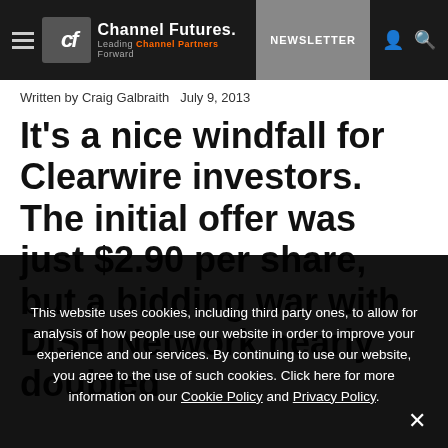Channel Futures — Leading Channel Partners Forward | NEWSLETTER
Written by Craig Galbraith  July 9, 2013
It's a nice windfall for Clearwire investors. The initial offer was just $2.90 per share, but a bidding war with DISH Network nearly doubled
This website uses cookies, including third party ones, to allow for analysis of how people use our website in order to improve your experience and our services. By continuing to use our website, you agree to the use of such cookies. Click here for more information on our Cookie Policy and Privacy Policy.